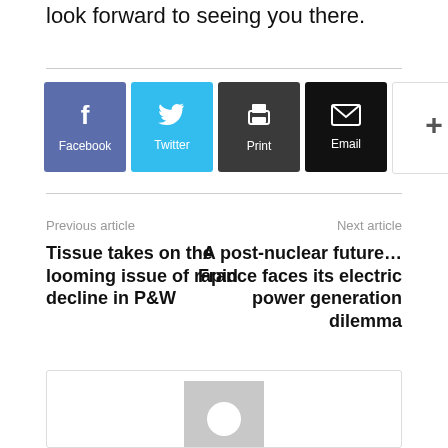look forward to seeing you there.
[Figure (infographic): Social share buttons row: Facebook (blue), Twitter (cyan), Print (dark grey), Email (black), and a More (+) button (white/outlined)]
Previous article
Next article
Tissue takes on the looming issue of rapid decline in P&W
A post-nuclear future… France faces its electric power generation dilemma
[Figure (photo): Author avatar placeholder — grey rectangle with white circle]